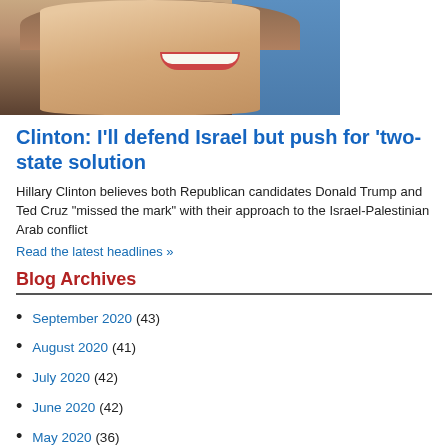[Figure (photo): Cropped photo of a smiling woman with light brown hair, against a blue background on the right side]
Clinton: I'll defend Israel but push for 'two-state solution
Hillary Clinton believes both Republican candidates Donald Trump and Ted Cruz "missed the mark" with their approach to the Israel-Palestinian Arab conflict
Read the latest headlines »
Blog Archives
September 2020 (43)
August 2020 (41)
July 2020 (42)
June 2020 (42)
May 2020 (36)
April 2020 (43)
March 2020 (44)
February 2020 (26)
January 2020 (42)